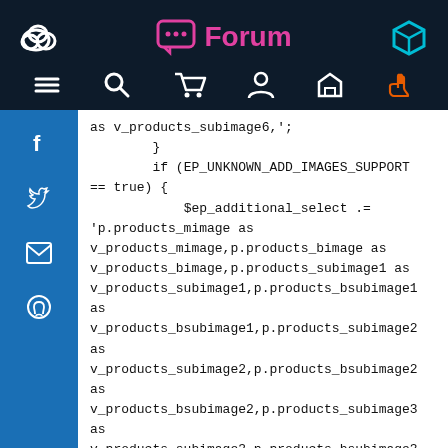Forum
[Figure (screenshot): Website navigation header with Forum logo in center, cloud logo on left, box icon on right, and navigation icons (menu, search, cart, user, home, hand) in second row]
as v_products_subimage6,';
        }
        if (EP_UNKNOWN_ADD_IMAGES_SUPPORT == true) {
            $ep_additional_select .= 'p.products_mimage as v_products_mimage,p.products_bimage as v_products_bimage,p.products_subimage1 as v_products_subimage1,p.products_bsubimage1 as v_products_bsubimage1,p.products_subimage2 as v_products_bsubimage2,p.products_bsubimage2 as v_products_bsubimage2,p.products_subimage3 as
v_products_subimage3,p.products_bsubimage3